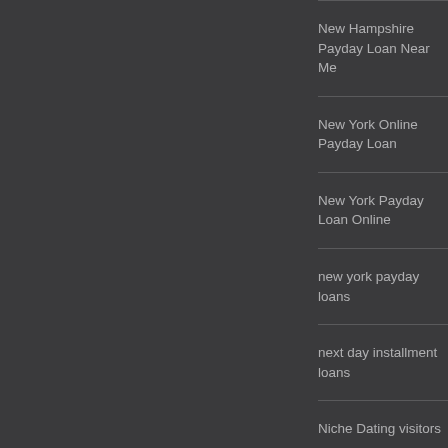New Hampshire Payday Loan Near Me
New York Online Payday Loan
New York Payday Loan Online
new york payday loans
next day installment loans
Niche Dating visitors
no checking